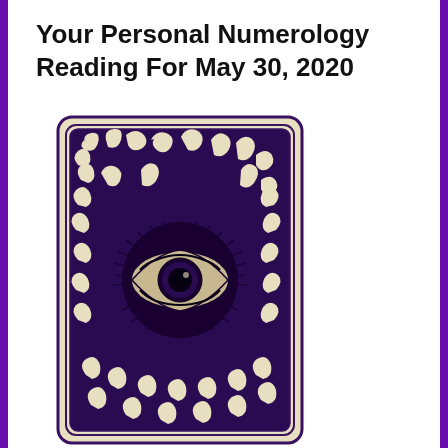Your Personal Numerology Reading For May 30, 2020
[Figure (illustration): A tarot card back design featuring a large mystical eye in the center surrounded by radiating lines like sun rays or lashes, with intricate swirling and curling decorative patterns filling the rest of the card. The card has a cream/beige background with dark purple-black ink artwork. The card has rounded corners and a double border.]